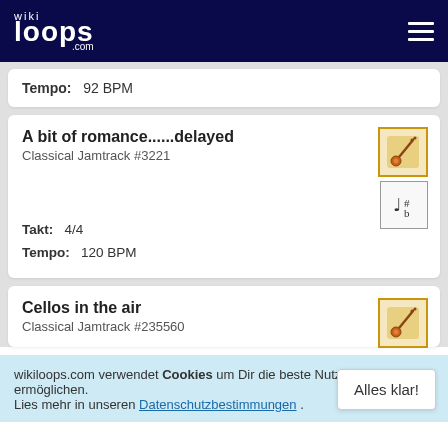wikiloops.com
Tempo: 92 BPM
A bit of romance......delayed
Classical Jamtrack #3221
Takt: 4/4
Tempo: 120 BPM
Cellos in the air
Classical Jamtrack #235560
wikiloops.com verwendet Cookies um Dir die beste Nutzererfahrung zu ermöglichen. Lies mehr in unseren Datenschutzbestimmungen .